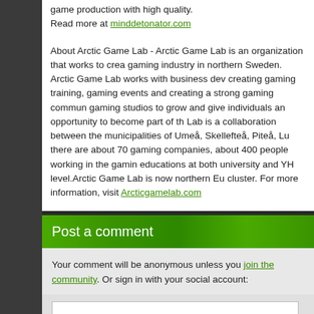game production with high quality.
Read more at minddetonator.com
About Arctic Game Lab - Arctic Game Lab is an organization that works to create a strong gaming industry in northern Sweden. Arctic Game Lab works with business development by creating gaming training, gaming events and creating a strong gaming community. We help gaming studios to grow and give individuals an opportunity to become part of the gaming industry. Lab is a collaboration between the municipalities of Umeå, Skellefteå, Piteå, L... there are about 70 gaming companies, about 400 people working in the gaming industry, and educations at both university and YH level. Arctic Game Lab is now northern E... cluster. For more information, visit Arcticgamelab.com
Post a comment
Your comment will be anonymous unless you join the community. Or sign in with your social account: